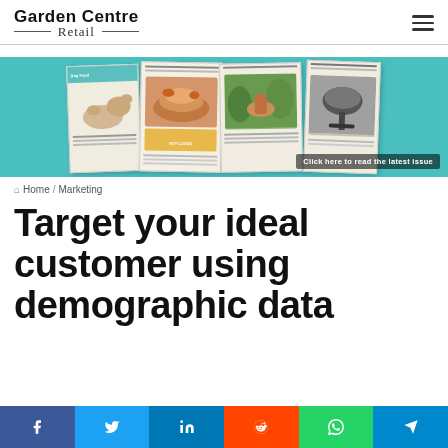Garden Centre Retail
[Figure (photo): Garden Centre Retail magazine banner advertisement showing multiple magazine covers and spreads, with a dog, food, garden and outdoor furniture imagery on a teal background. Text reads: Click here to read the latest issue]
Home / Marketing
Target your ideal customer using demographic data
f  y  in  (reddit)  (whatsapp)  (telegram)